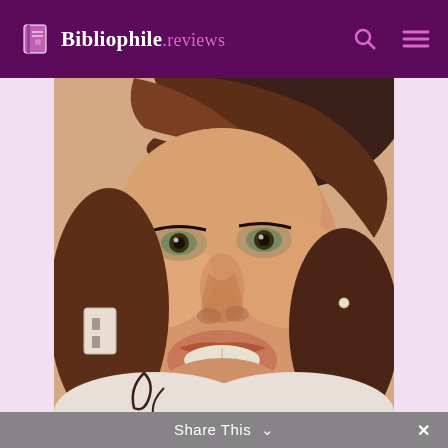Bibliophile.reviews
[Figure (photo): Close-up photo of a smiling woman with dark hair and bangs, wearing earrings and a white top, photographed indoors]
Share This ∨